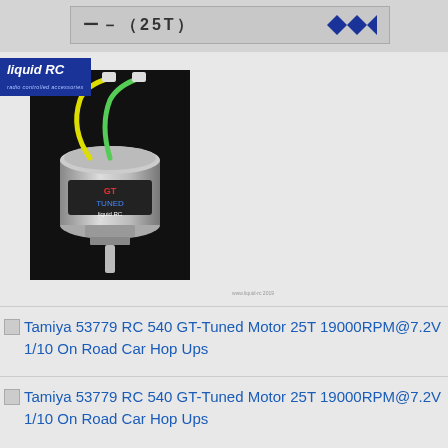[Figure (other): Top banner with Japanese text and star logo for Tamiya product packaging]
[Figure (photo): Liquid RC branded photo of Tamiya 53779 RC 540 GT-Tuned Motor 25T with yellow and green wires on dark background]
Tamiya 53779 RC 540 GT-Tuned Motor 25T 19000RPM@7.2V 1/10 On Road Car Hop Ups
Tamiya 53779 RC 540 GT-Tuned Motor 25T 19000RPM@7.2V 1/10 On Road Car Hop Ups